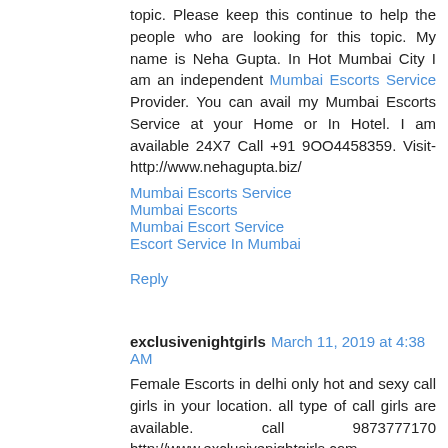topic. Please keep this continue to help the people who are looking for this topic. My name is Neha Gupta. In Hot Mumbai City I am an independent Mumbai Escorts Service Provider. You can avail my Mumbai Escorts Service at your Home or In Hotel. I am available 24X7 Call +91 9OO4458359. Visit- http://www.nehagupta.biz/
Mumbai Escorts Service
Mumbai Escorts
Mumbai Escort Service
Escort Service In Mumbai
Reply
exclusivenightgirls  March 11, 2019 at 4:38 AM
Female Escorts in delhi only hot and sexy call girls in your location. all type of call girls are available. call 9873777170 http://www.exclusivenightgirls.com
Delhi Escorts
saket escorts service
dwarka escorts service